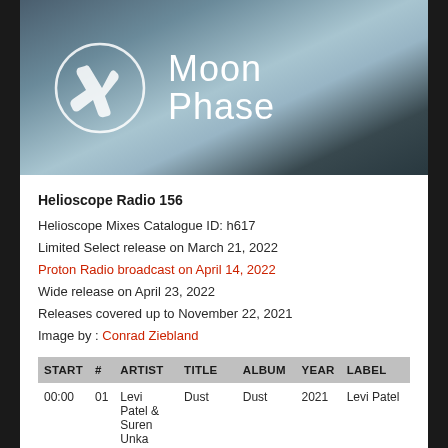[Figure (photo): Hero image with circular logo containing stylized letter and 'Moon Phase' text on a blue-grey gradient background]
Helioscope Radio 156
Helioscope Mixes Catalogue ID: h617
Limited Select release on March 21, 2022
Proton Radio broadcast on April 14, 2022
Wide release on April 23, 2022
Releases covered up to November 22, 2021
Image by : Conrad Ziebland
| START | # | ARTIST | TITLE | ALBUM | YEAR | LABEL |
| --- | --- | --- | --- | --- | --- | --- |
| 00:00 | 01 | Levi Patel & Suren Unka | Dust | Dust | 2021 | Levi Patel |
| 05:15 | 02 | Matter | Starchild | Starchild | 2021 | meanwhile |